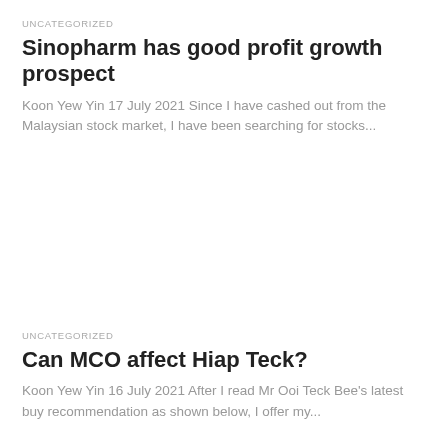UNCATEGORIZED
Sinopharm has good profit growth prospect
Koon Yew Yin 17 July 2021 Since I have cashed out from the Malaysian stock market, I have been searching for stocks...
UNCATEGORIZED
Can MCO affect Hiap Teck?
Koon Yew Yin 16 July 2021 After I read Mr Ooi Teck Bee's latest buy recommendation as shown below, I offer my...